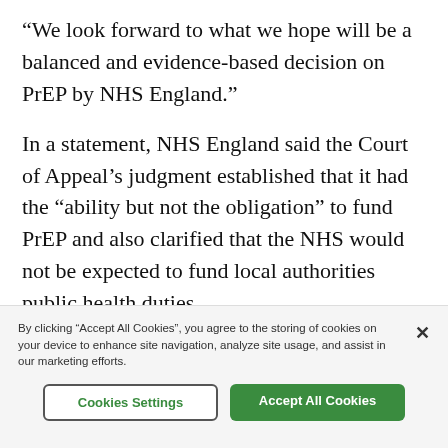“We look forward to what we hope will be a balanced and evidence-based decision on PrEP by NHS England.”
In a statement, NHS England said the Court of Appeal’s judgment established that it had the “ability but not the obligation” to fund PrEP and also clarified that the NHS would not be expected to fund local authorities public health duties.
By clicking “Accept All Cookies”, you agree to the storing of cookies on your device to enhance site navigation, analyze site usage, and assist in our marketing efforts.
Cookies Settings
Accept All Cookies